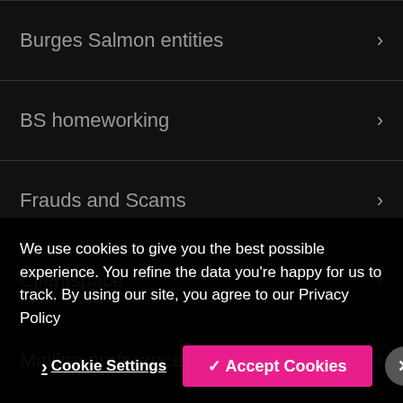Burges Salmon entities
BS homeworking
Frauds and Scams
Clientspace
Mailing preferences
We use cookies to give you the best possible experience. You refine the data you're happy for us to track. By using our site, you agree to our Privacy Policy
Cookie Settings
✓ Accept Cookies